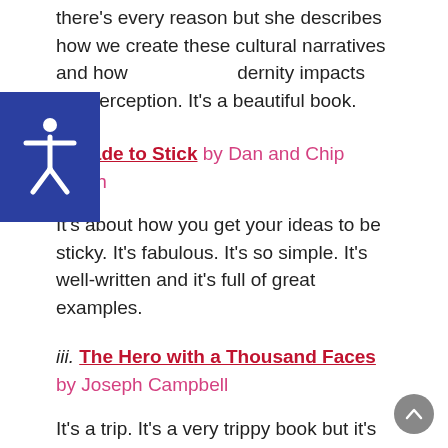there's every reason but she describes how we create these cultural narratives and how modernity impacts our perception. It’s a beautiful book.
ii. Made to Stick by Dan and Chip Heath
It’s about how you get your ideas to be sticky. It’s fabulous. It’s so simple. It’s well-written and it’s full of great examples.
iii. The Hero with a Thousand Faces by Joseph Campbell
It’s a trip. It’s a very trippy book but it’s